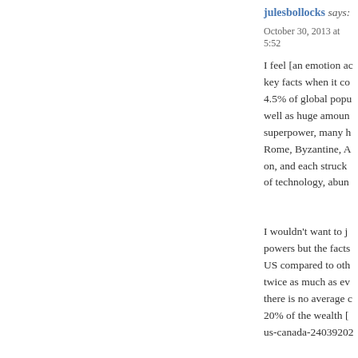julesbollocks says:
October 30, 2013 at 5:52
I feel [an emotion ac... key facts when it co... 4.5% of global popu... well as huge amoun... superpower, many h... Rome, Byzantine, A... on, and each struck ... of technology, abun...
I wouldn't want to j... powers but the facts... US compared to oth... twice as much as ev... there is no average c... 20% of the wealth [... us-canada-24039202...